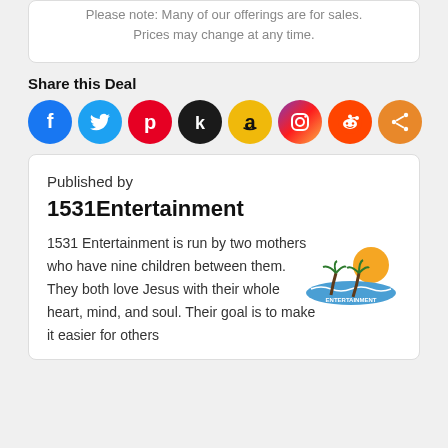Please note: Many of our offerings are for sales. Prices may change at any time.
Share this Deal
[Figure (infographic): Row of 8 social media share icons: Facebook (blue), Twitter (light blue), Pinterest (red), Kik (black), Amazon (yellow/gold), Instagram (gradient purple-orange), Reddit (orange-red), Share (orange)]
Published by
1531Entertainment
1531 Entertainment is run by two mothers who have nine children between them. They both love Jesus with their whole heart, mind, and soul. Their goal is to make it easier for others
[Figure (logo): 1531 Entertainment logo with palm trees and ocean]